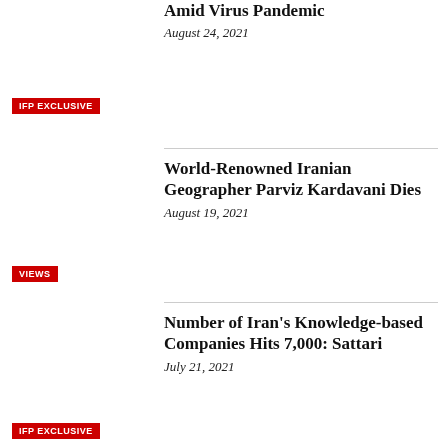Amid Virus Pandemic
August 24, 2021
IFP EXCLUSIVE
World-Renowned Iranian Geographer Parviz Kardavani Dies
August 19, 2021
VIEWS
Number of Iran's Knowledge-based Companies Hits 7,000: Sattari
July 21, 2021
IFP EXCLUSIVE